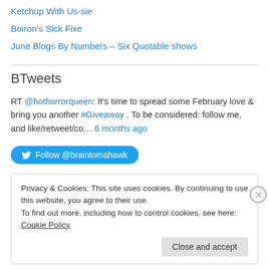Ketchup With Us-sie
Boiron's Sick Fixe
June Blogs By Numbers – Six Quotable shows
BTweets
RT @hothorrorqueen: It's time to spread some February love & bring you another #Giveaway . To be considered: follow me, and like/retweet/co… 6 months ago
Follow @braintomahawk
Privacy & Cookies: This site uses cookies. By continuing to use this website, you agree to their use.
To find out more, including how to control cookies, see here: Cookie Policy
Close and accept